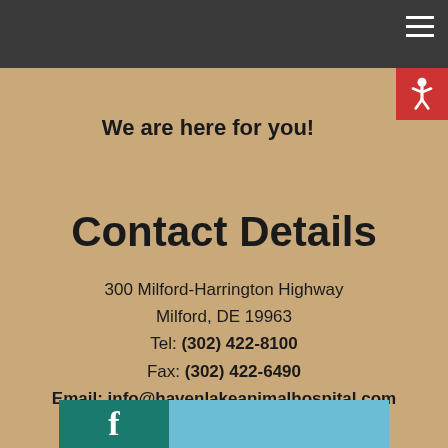We are here for you!
Contact Details
300 Milford-Harrington Highway
Milford, DE 19963
Tel: (302) 422-8100
Fax: (302) 422-6490
Email: info@havenlakeanimalhospital.com
[Figure (other): Social media icons bar showing Facebook and other social media links at the bottom of the page]